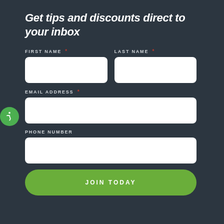Get tips and discounts direct to your inbox
FIRST NAME * (required field)
LAST NAME * (required field)
EMAIL ADDRESS * (required field)
PHONE NUMBER
JOIN TODAY